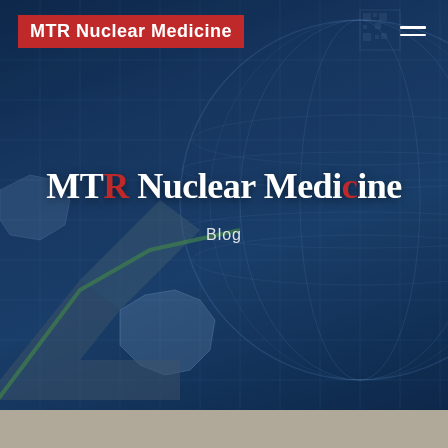MTR Nuclear Medicine
[Figure (illustration): Dark blue world map/globe background with grid lines and arrow graphic overlays, used as hero background image for MTR Nuclear Medicine website]
MTR Nuclear Medicine Blog
Blog